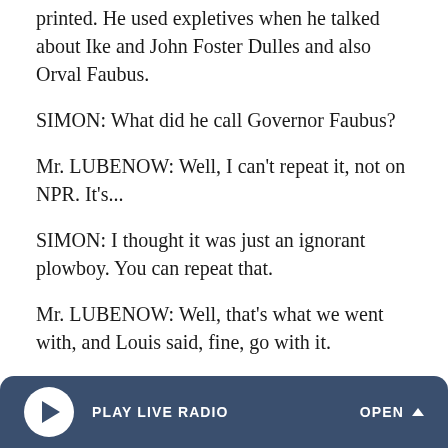printed. He used expletives when he talked about Ike and John Foster Dulles and also Orval Faubus.
SIMON: What did he call Governor Faubus?
Mr. LUBENOW: Well, I can't repeat it, not on NPR. It's...
SIMON: I thought it was just an ignorant plowboy. You can repeat that.
Mr. LUBENOW: Well, that's what we went with, and Louis said, fine, go with it.
SIMON: So let me get this straight. He didn't actually say ignorant plowboy. He said something else and you said, let's see if we can agree on...